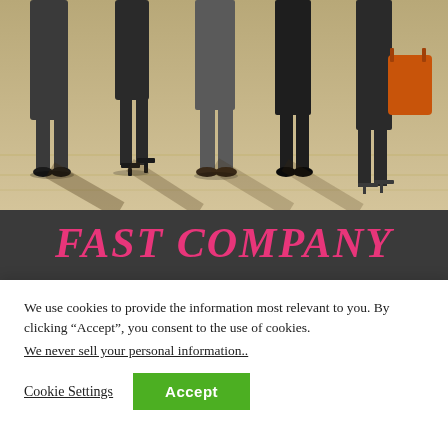[Figure (photo): Blurred motion photo of people walking, showing legs and feet from mid-thigh down on a city sidewalk. A woman carrying an orange bag is visible on the right.]
[Figure (logo): Fast Company logo in pink/magenta serif italic font on dark gray background]
WE MADE
THE
We use cookies to provide the information most relevant to you. By clicking “Accept”, you consent to the use of cookies.
We never sell your personal information..
Cookie Settings
Accept